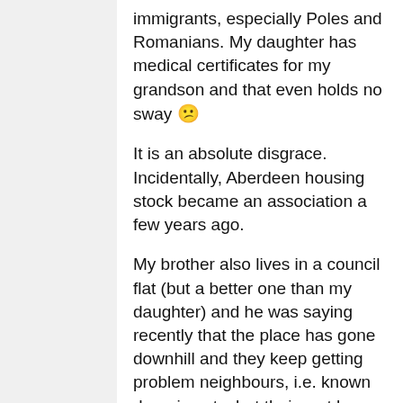immigrants, especially Poles and Romanians. My daughter has medical certificates for my grandson and that even holds no sway 😕
It is an absolute disgrace. Incidentally, Aberdeen housing stock became an association a few years ago.
My brother also lives in a council flat (but a better one than my daughter) and he was saying recently that the place has gone downhill and they keep getting problem neighbours, i.e. known druggies etc. but their rent keeps going up and up. He is now looking to buy his own place away